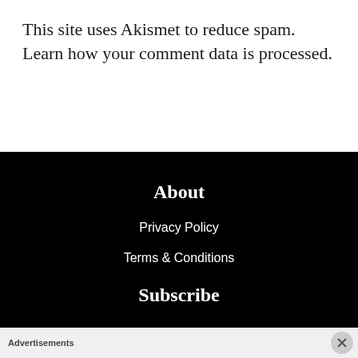This site uses Akismet to reduce spam. Learn how your comment data is processed.
About
Privacy Policy
Terms & Conditions
Subscribe
Advertisements
[Figure (logo): WordPress VIP logo and an advertisement banner with a 'Learn more' button]
[Figure (other): Close button (X) overlay in bottom-right corner of black section]